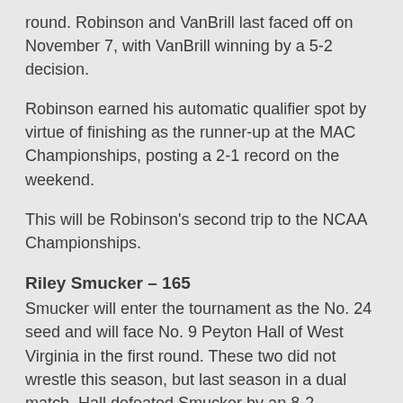round. Robinson and VanBrill last faced off on November 7, with VanBrill winning by a 5-2 decision.
Robinson earned his automatic qualifier spot by virtue of finishing as the runner-up at the MAC Championships, posting a 2-1 record on the weekend.
This will be Robinson's second trip to the NCAA Championships.
Riley Smucker – 165
Smucker will enter the tournament as the No. 24 seed and will face No. 9 Peyton Hall of West Virginia in the first round. These two did not wrestle this season, but last season in a dual match, Hall defeated Smucker by an 8-2 decision in Cleveland.
Smucker earned his automatic qualifier spot by finishing third at the MAC Championships, posting a 3-1 record on